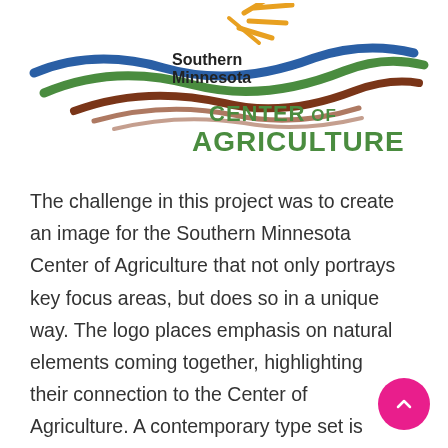[Figure (logo): Southern Minnesota Center of Agriculture logo: curving lines in blue, green, brown/rust, and gold/orange suggesting landscape and sun rays, with text 'Southern Minnesota' in dark color and 'CENTER OF AGRICULTURE' in bold green.]
The challenge in this project was to create an image for the Southern Minnesota Center of Agriculture that not only portrays key focus areas, but does so in a unique way. The logo places emphasis on natural elements coming together, highlighting their connection to the Center of Agriculture. A contemporary type set is used within the scene, providing a high level of readability while implying